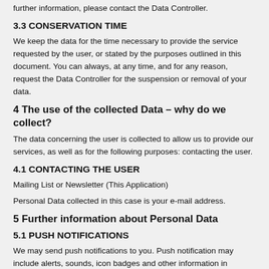further information, please contact the Data Controller.
3.3 CONSERVATION TIME
We keep the data for the time necessary to provide the service requested by the user, or stated by the purposes outlined in this document. You can always, at any time, and for any reason, request the Data Controller for the suspension or removal of your data.
4 The use of the collected Data – why do we collect?
The data concerning the user is collected to allow us to provide our services, as well as for the following purposes: contacting the user.
4.1 CONTACTING THE USER
Mailing List or Newsletter (This Application)
Personal Data collected in this case is your e-mail address.
5 Further information about Personal Data
5.1 PUSH NOTIFICATIONS
We may send push notifications to you. Push notification may include alerts, sounds, icon badges and other information in relation to the use of our